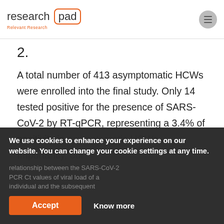research pad — Relevant Research
2.
A total number of 413 asymptomatic HCWs were enrolled into the final study. Only 14 tested positive for the presence of SARS-CoV-2 by RT-qPCR, representing a 3.4% of positivity in asymptomatic HCWs. Importantly, our relationship between the SARS-CoV-2 PCR Ct values of viral load of a individual and the subsequent
We use cookies to enhance your experience on our website. You can change your cookie settings at any time.